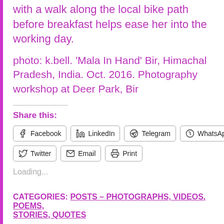with a walk along the local bike path before breakfast helps ease her into the working day.
photo: k.bell. 'Mala In Hand' Bir, Himachal Pradesh, India. Oct. 2016. Photography workshop at Deer Park, Bir
Share this:
Facebook | LinkedIn | Telegram | WhatsApp | Twitter | Email | Print
Loading...
CATEGORIES: POSTS – PHOTOGRAPHS, VIDEOS, POEMS, STORIES, QUOTES